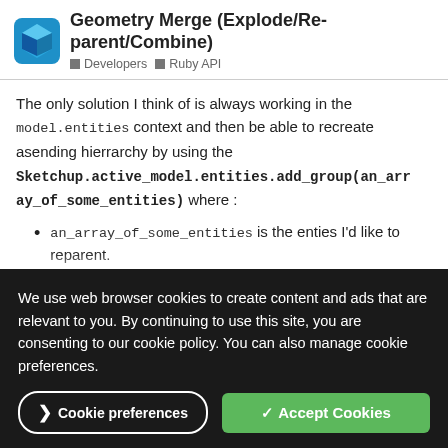Geometry Merge (Explode/Re-parent/Combine) — Developers · Ruby API
The only solution I think of is always working in the model.entities context and then be able to recreate asending hierrarchy by using the Sketchup.active_model.entities.add_group(an_array_of_some_entities) where :
an_array_of_some_entities is the enties I'd like to reparent.
add_group is the parent I'd like
That means you need to know exactly what hierarchy you need
We use web browser cookies to create content and ads that are relevant to you. By continuing to use this site, you are consenting to our cookie policy. You can also manage cookie preferences.